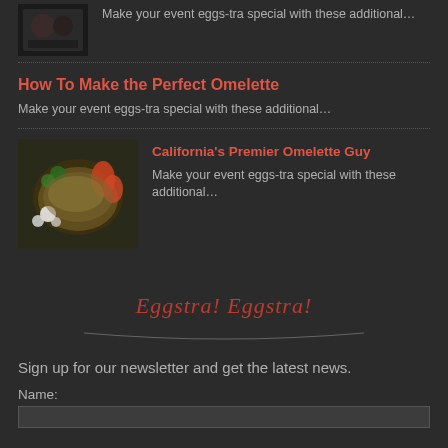[Figure (photo): Small dark thumbnail image of food/people at top left]
Make your event eggs-tra special with these additional…
How To Make the Perfect Omelette
Make your event eggs-tra special with these additional…
[Figure (photo): Thumbnail image of omelette dish with vegetables and herbs]
California's Premier Omelette Guy
Make your event eggs-tra special with these additional…
Eggstra! Eggstra!
Sign up for our newsletter and get the latest news.
Name: